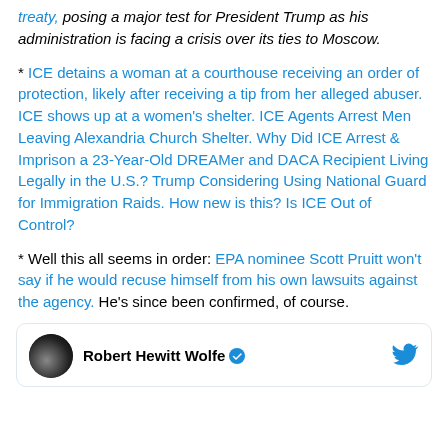treaty, posing a major test for President Trump as his administration is facing a crisis over its ties to Moscow.
* ICE detains a woman at a courthouse receiving an order of protection, likely after receiving a tip from her alleged abuser. ICE shows up at a women's shelter. ICE Agents Arrest Men Leaving Alexandria Church Shelter. Why Did ICE Arrest & Imprison a 23-Year-Old DREAMer and DACA Recipient Living Legally in the U.S.? Trump Considering Using National Guard for Immigration Raids. How new is this? Is ICE Out of Control?
* Well this all seems in order: EPA nominee Scott Pruitt won't say if he would recuse himself from his own lawsuits against the agency. He's since been confirmed, of course.
Robert Hewitt Wolfe [verified]